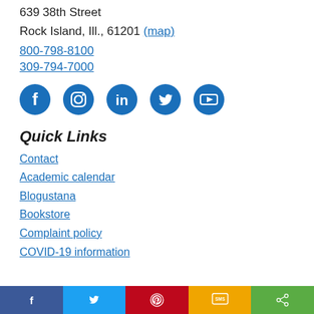639 38th Street
Rock Island, Ill., 61201 (map)
800-798-8100
309-794-7000
[Figure (infographic): Row of 5 social media icons (Facebook, Instagram, LinkedIn, Twitter, YouTube) in blue circles]
Quick Links
Contact
Academic calendar
Blogustana
Bookstore
Complaint policy
COVID-19 information
Share bar with Facebook, Twitter, Pinterest, SMS, Share buttons